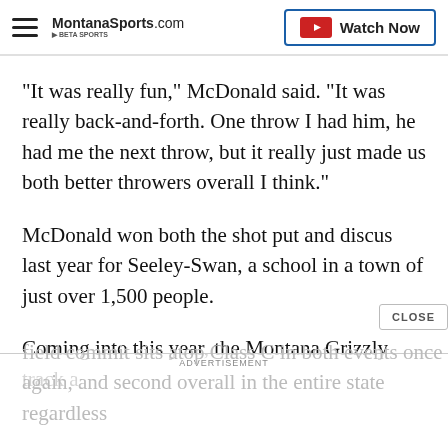MontanaSports.com | Watch Now
"It was really fun," McDonald said. "It was really back-and-forth. One throw I had him, he had me the next throw, but it really just made us both better throwers overall I think."
McDonald won both the shot put and discus last year for Seeley-Swan, a school in a town of just over 1,500 people.
Coming into this year, the Montana Grizzly track and field commit sits atop Class C in both events once again, and second overall in the entire state regardless of class in the shot put, and third in the discus.